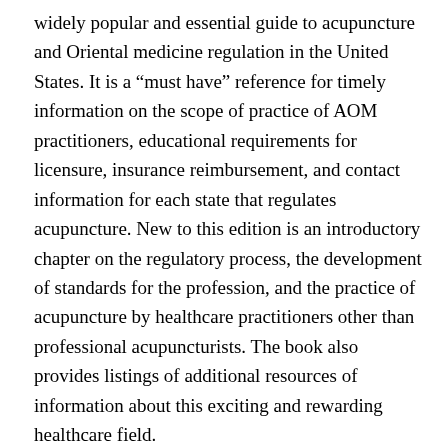widely popular and essential guide to acupuncture and Oriental medicine regulation in the United States. It is a “must have” reference for timely information on the scope of practice of AOM practitioners, educational requirements for licensure, insurance reimbursement, and contact information for each state that regulates acupuncture. New to this edition is an introductory chapter on the regulatory process, the development of standards for the profession, and the practice of acupuncture by healthcare practitioners other than professional acupuncturists. The book also provides listings of additional resources of information about this exciting and rewarding healthcare field.
Sherman Cohn, Professor of Law at Georgetown, wrote an outstanding and comprehensive chapter on regulation, replete with very helpful charts.
Since I authored the Forward, I’ll let that speak for itself: